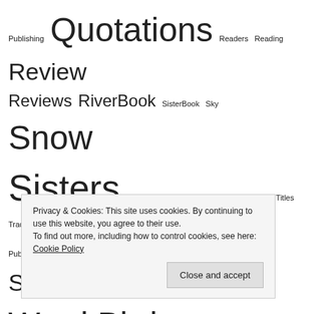Publishing Quotations Readers Reading Review Reviews RiverBook SisterBook Sky Snow Sisters Social Media Storyteller Structural Edits Titles Traditional Publishing Virginia Woolf Wild Spinning Girls Word Birds Workshops Writers Writing Writing Advice Writing Group Writing rituals
ARCHIVES
August 2022
April 2022
March 2022
February 2022
Privacy & Cookies: This site uses cookies. By continuing to use this website, you agree to their use. To find out more, including how to control cookies, see here: Cookie Policy Close and accept